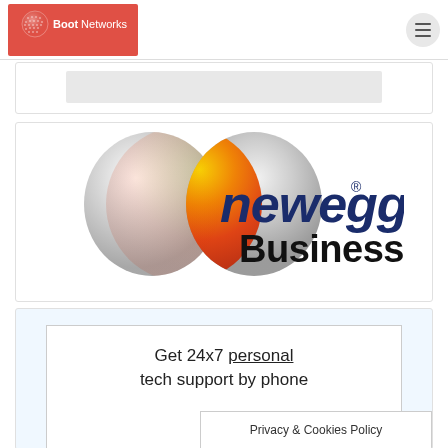Boot Networks
[Figure (logo): Newegg Business logo with two overlapping spheres (silver and orange gradient) and bold italic 'newegg' text in navy blue with superscript registered mark, and 'Business' in black bold below]
Get 24x7 personal tech support by phone
Privacy & Cookies Policy